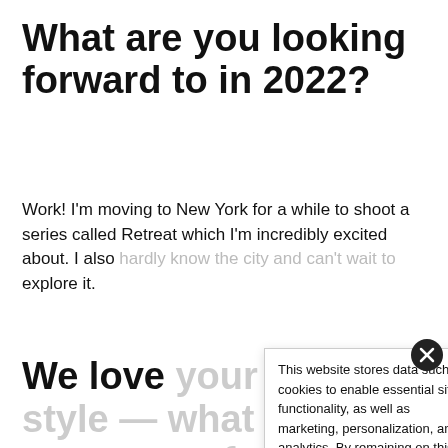What are you looking forward to in 2022?
Work! I'm moving to New York for a while to shoot a series called Retreat which I'm incredibly excited about. I also hardly know the city and can't wait to explore it.
This website stores data such as cookies to enable essential site functionality, as well as marketing, personalization, and analytics. By remaining on this website you indicate your consent.
Privacy Policy
We love your unique style — what are some of your favourite looks you've worn?